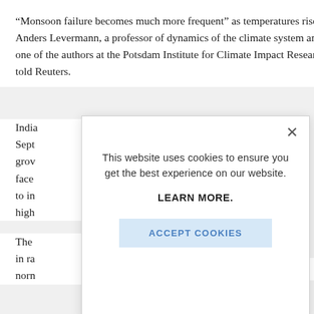“Monsoon failure becomes much more frequent” as temperatures rise, Anders Levermann, a professor of dynamics of the climate system and one of the authors at the Potsdam Institute for Climate Impact Research, told Reuters.
India… Sept… grow… face… to in… high…
The… in ra… norn…
[Figure (screenshot): Cookie consent modal dialog with close button (X), text 'This website uses cookies to ensure you get the best experience on our website.', bold text 'LEARN MORE.', and a light blue 'ACCEPT COOKIES' button.]